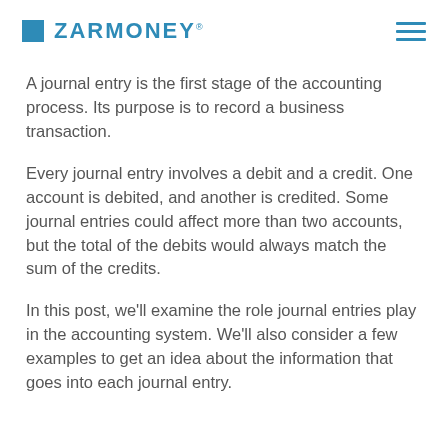ZarMoney
A journal entry is the first stage of the accounting process. Its purpose is to record a business transaction.
Every journal entry involves a debit and a credit. One account is debited, and another is credited. Some journal entries could affect more than two accounts, but the total of the debits would always match the sum of the credits.
In this post, we'll examine the role journal entries play in the accounting system. We'll also consider a few examples to get an idea about the information that goes into each journal entry.